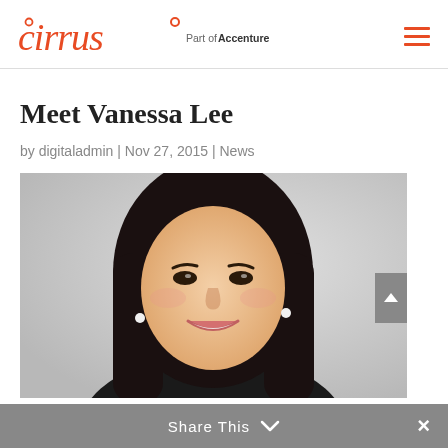cirrus Part of Accenture
Meet Vanessa Lee
by digitaladmin | Nov 27, 2015 | News
[Figure (photo): Professional headshot of Vanessa Lee, a woman with long dark hair, smiling, against a light grey background]
Share This